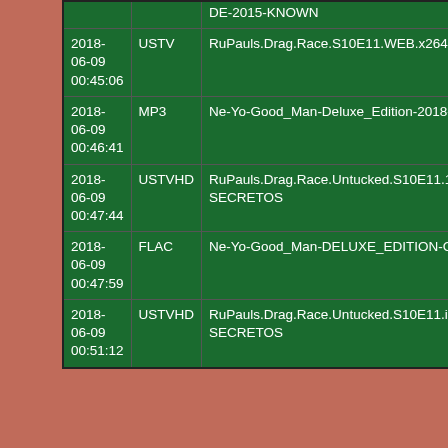| Timestamp | Type | Name |
| --- | --- | --- |
|  |  | DE-2015-KNOWN |
| 2018-06-09 00:45:06 | USTV | RuPauls.Drag.Race.S10E11.WEB.x264-SECRETOS |
| 2018-06-09 00:46:41 | MP3 | Ne-Yo-Good_Man-Deluxe_Edition-2018-FATHEAD |
| 2018-06-09 00:47:44 | USTVHD | RuPauls.Drag.Race.Untucked.S10E11.1080p.WEB.x264-SECRETOS |
| 2018-06-09 00:47:59 | FLAC | Ne-Yo-Good_Man-DELUXE_EDITION-CD-FLAC-2018-FATHEAD |
| 2018-06-09 00:51:12 | USTVHD | RuPauls.Drag.Race.Untucked.S10E11.iNTERNAL.720p.WEB.x264-SECRETOS |